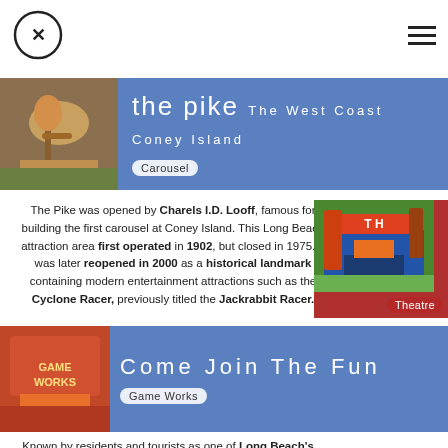CX logo and hamburger menu
[Figure (illustration): Blue banner with carousel horse photo, title 'the pike The West Coast Coney Island', Carousel tag]
The Pike was opened by Charels I.D. Looff, famous for building the first carousel at Coney Island. This Long Beach attraction area first operated in 1902, but closed in 1975. It was later reopened in 2000 as a historical landmark containing modern entertainment attractions such as the Cyclone Racer, previously titled the Jackrabbit Racer.
[Figure (photo): Red card with theatre building photo and Theatre tag]
[Figure (illustration): Blue banner with GameWorks building photo, title 'Come Join The Fun', Game Works tag]
Known by residents and tourists as one of Long Beach's main entertainment centers, The Pike has become a